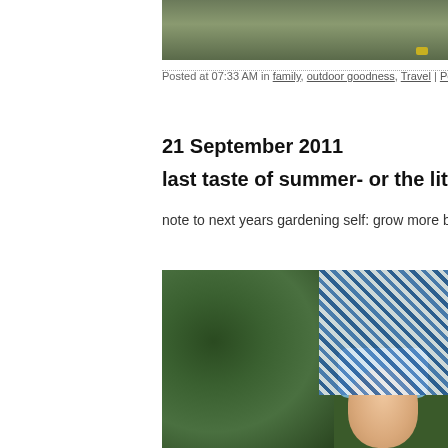[Figure (photo): Top partial photo showing outdoor scene with foliage and yellow object, cropped at top of page]
Posted at 07:33 AM in family, outdoor goodness, Travel | Perma...
21 September 2011
last taste of summer- or the little
note to next years gardening self: grow more baby wat...
[Figure (photo): Photo of a baby's arm and hand on green clover ground with blue patterned fabric visible, outdoor garden scene]